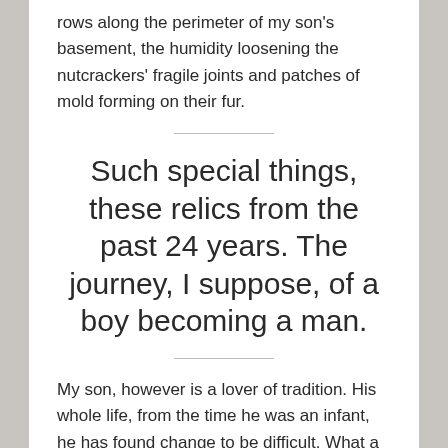rows along the perimeter of my son's basement, the humidity loosening the nutcrackers' fragile joints and patches of mold forming on their fur.
Such special things, these relics from the past 24 years. The journey, I suppose, of a boy becoming a man.
My son, however is a lover of tradition. His whole life, from the time he was an infant, he has found change to be difficult. What a nightmare it was, when it was time to transition from the crib to a big